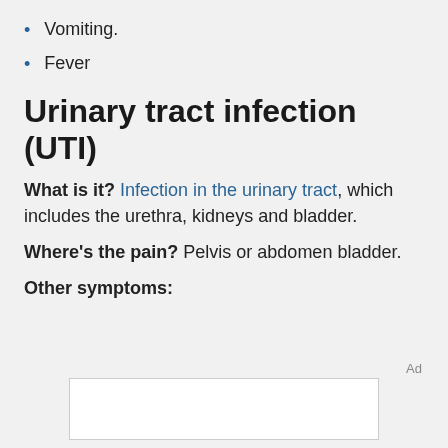Vomiting.
Fever
Urinary tract infection (UTI)
What is it? Infection in the urinary tract, which includes the urethra, kidneys and bladder.
Where's the pain? Pelvis or abdomen bladder.
Other symptoms: